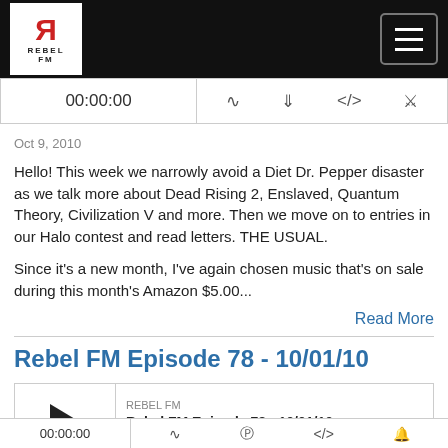Rebel FM
00:00:00
Oct 9, 2010
Hello! This week we narrowly avoid a Diet Dr. Pepper disaster as we talk more about Dead Rising 2, Enslaved, Quantum Theory, Civilization V and more. Then we move on to entries in our Halo contest and read letters. THE USUAL.
Since it's a new month, I've again chosen music that's on sale during this month's Amazon $5.00...
Read More
Rebel FM Episode 78 - 10/01/10
REBEL FM
Rebel FM Episode 78 - 10/01/10
00:00:00